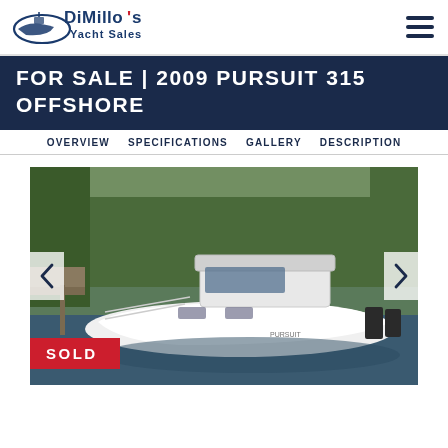DiMillo's Yacht Sales
FOR SALE | 2009 PURSUIT 315 OFFSHORE
OVERVIEW  SPECIFICATIONS  GALLERY  DESCRIPTION
[Figure (photo): 2009 Pursuit 315 Offshore boat docked at marina, white hull, hardtop, with SOLD badge overlay in red at bottom left]
SOLD